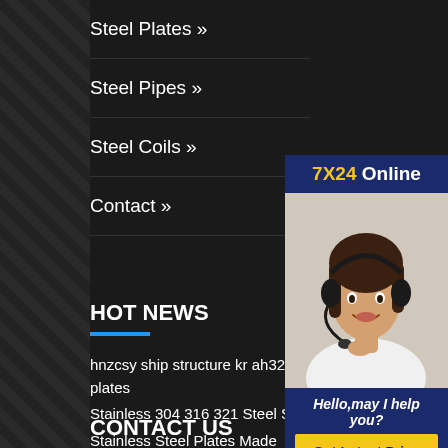Steel Plates »
Steel Pipes »
Steel Coils »
Contact »
HOT NEWS
hnzcsy ship structure kr ah32 ship plates
Stainless 304 316 321 Steel Sheet
Stainless Steel Plates Made
black titanium mirror stainless steel sheet 201
astm a36 checkered steel plate 8mm thickness at low price
[Figure (photo): Customer service representative wearing a headset, smiling. Widget shows '7X24 Online', 'Hello, may I help you?' and a 'Get Latest Price' button.]
CONTACT US